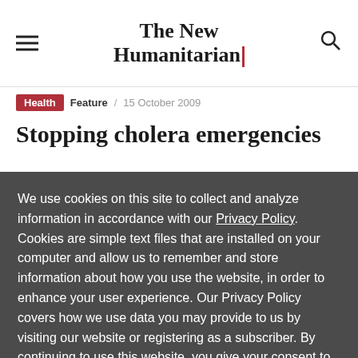The New Humanitarian
Health  Feature  15 October 2009
Stopping cholera emergencies
We use cookies on this site to collect and analyze information in accordance with our Privacy Policy. Cookies are simple text files that are installed on your computer and allow us to remember and store information about how you use the website, in order to enhance your user experience. Our Privacy Policy covers how we use data you may provide to us by visiting our website or registering as a subscriber. By continuing to use this website, you give your consent to our Privacy Policy and to our use of cookies.
OK, I agree